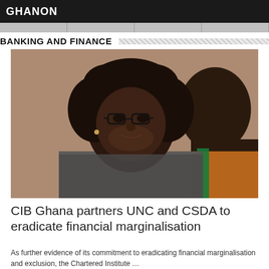GHANON
BANKING AND FINANCE
[Figure (photo): Portrait photo of a woman wearing glasses with curly black hair, smiling, in an indoor setting. Another person partially visible in background.]
CIB Ghana partners UNC and CSDA to eradicate financial marginalisation
As further evidence of its commitment to eradicating financial marginalisation and exclusion, the Chartered Institute …